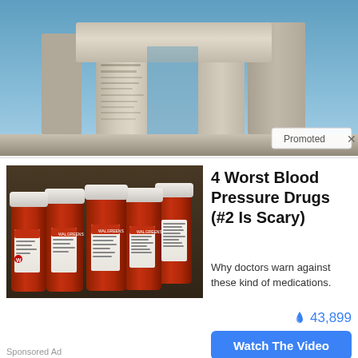[Figure (photo): Stone monument (Georgia Guidestones) against blue sky, with 'Promoted X' badge in bottom right corner]
[Figure (photo): Five orange prescription pill bottles laid on a dark surface, with white caps and white labels]
4 Worst Blood Pressure Drugs (#2 Is Scary)
Why doctors warn against these kind of medications.
🔥 43,899
Watch The Video
Sponsored Ad